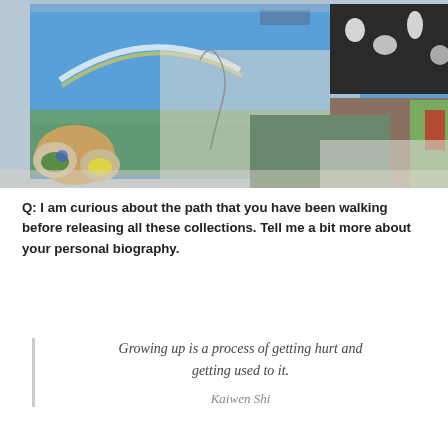[Figure (photo): A collage of artwork and photos: colorful paintings including a blue sky mural with a rainbow, anime-style linework figures, black-and-white illustrations, paint supplies with colorful pigments, and childhood photographs of children.]
Q: I am curious about the path that you have been walking before releasing all these collections. Tell me a bit more about your personal biography.
Growing up is a process of getting hurt and getting used to it.

Kaiwen Shi